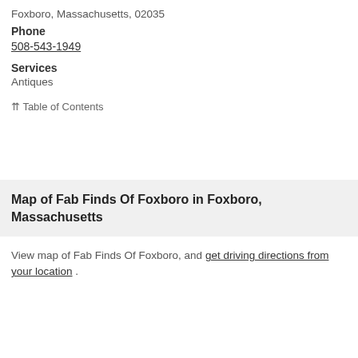Foxboro, Massachusetts, 02035
Phone
508-543-1949
Services
Antiques
⇈ Table of Contents
Map of Fab Finds Of Foxboro in Foxboro, Massachusetts
View map of Fab Finds Of Foxboro, and get driving directions from your location .